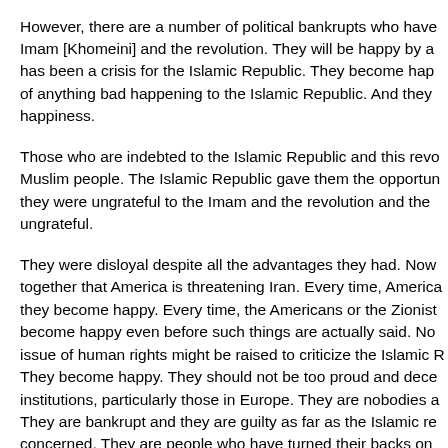However, there are a number of political bankrupts who have... Imam [Khomeini] and the revolution. They will be happy by a... has been a crisis for the Islamic Republic. They become hap... of anything bad happening to the Islamic Republic. And they... happiness.
Those who are indebted to the Islamic Republic and this revo... Muslim people. The Islamic Republic gave them the opportun... they were ungrateful to the Imam and the revolution and the... ungrateful.
They were disloyal despite all the advantages they had. Now... together that America is threatening Iran. Every time, America... they become happy. Every time, the Americans or the Zionist... become happy even before such things are actually said. No... issue of human rights might be raised to criticize the Islamic R... They become happy. They should not be too proud and dece... institutions, particularly those in Europe. They are nobodies a... They are bankrupt and they are guilty as far as the Islamic re... concerned. They are people who have turned their backs on... people have turned their backs on them as well. The people... either.
Of course, the Islamic republican state does not have anythin... long as they are not perpetrating evil deeds. Let them be ther... what they say in their propaganda campaigns. They claim...